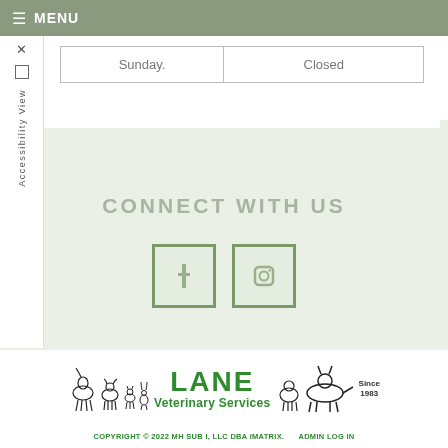☰ MENU
|  |  |
| --- | --- |
| Sunday. | Closed |
CONNECT WITH US
[Figure (logo): Two social media icon boxes (Facebook and Instagram style icons) with green borders on light green background]
[Figure (logo): Lane Veterinary Services logo with animal silhouettes (horse, dog, cat, rabbit, cow, sheep) and green text reading LANE Veterinary Services Since 1983]
COPYRIGHT © 2022 MH SUB I, LLC DBA IMATRIX.    ADMIN LOG IN